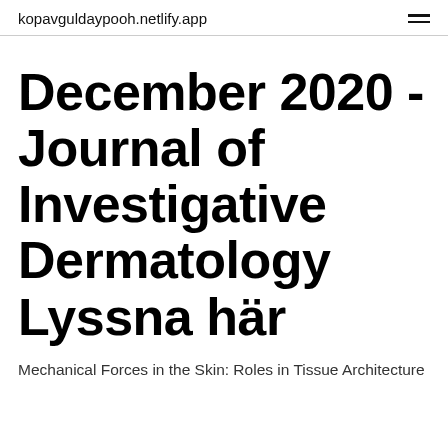kopavguldaypooh.netlify.app
December 2020 - Journal of Investigative Dermatology Lyssna här
Mechanical Forces in the Skin: Roles in Tissue Architecture